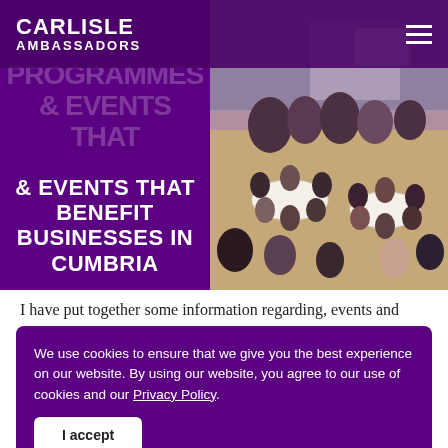CARLISLE AMBASSADORS
[Figure (photo): Hero banner with purple left panel showing text 'PROGRAMMES & EVENTS THAT BENEFIT BUSINESSES IN CUMBRIA' and right panel showing photo of a business networking event with people seated at round tables in a large hall]
I have put together some information regarding, events and programmes that will help businesses in Carlisle Some may have a cost etc, so will have to check with the
We use cookies to ensure that we give you the best experience on our website. By using our website, you agree to our use of cookies and our Privacy Policy.
I accept
Continue reading